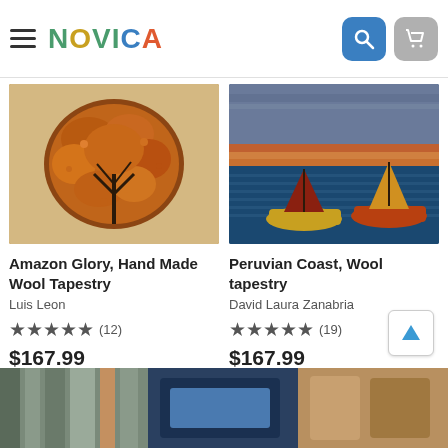NOVICA
[Figure (photo): Amazon Glory tapestry - circular autumn tree design on beige background]
Amazon Glory, Hand Made Wool Tapestry
Luis Leon
★★★★★ (12)
$167.99
[Figure (photo): Peruvian Coast tapestry - two sailboats on ocean with sunset sky]
Peruvian Coast, Wool tapestry
David Laura Zanabria
★★★★★ (19)
$167.99
[Figure (photo): Bottom strip showing partial product images - textiles and items]